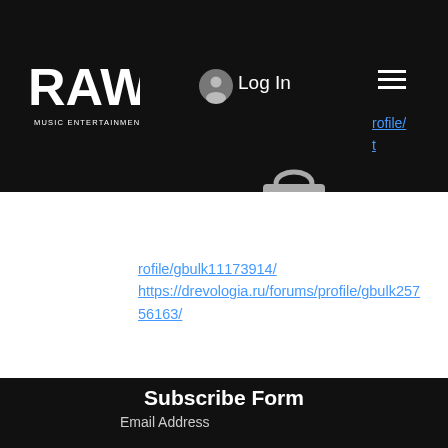[Figure (screenshot): Raw Music Entertainment website screenshot showing navigation bar with logo, Log In button, hamburger menu, shopping bag icon, partial URL links on right, body links to drevologia.ru forum profiles, and a Subscribe Form section at the bottom with Email Address field, Submit button, and copyright footer.]
rofile/gbulk11173914/ https://drevologia.ru/forums/profile/gbulk25756163/
Subscribe Form
Email Address
Submit
©2020 by Raw Music Entertainment. Proudly created with Wix.com